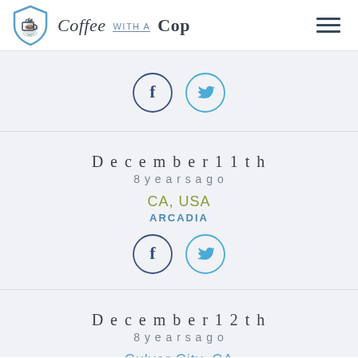[Figure (logo): Coffee with a Cop logo: shield icon with coffee cup and text 'Coffee WITH A Cop']
[Figure (infographic): Social share buttons: Facebook (f) and Twitter (bird) circle icons]
December 11th
8 years ago
CA, USA
ARCADIA
[Figure (infographic): Social share buttons: Facebook (f) and Twitter (bird) circle icons]
December 12th
8 years ago
Culver City, CA